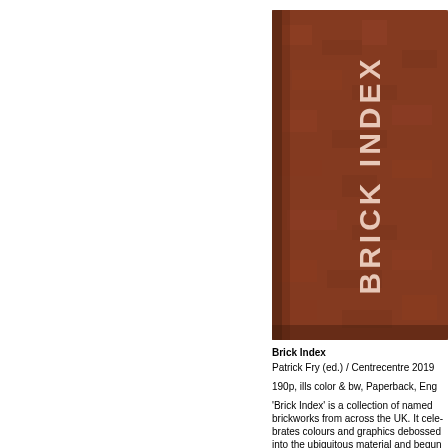[Figure (photo): Book cover of 'Brick Index' — a reddish-brown textured hardcover book with the title 'BRICK INDEX' embossed vertically in pale/white capital letters on the spine/cover face.]
Brick Index
Patrick Fry (ed.) / Centrecentre 2019
190p, ills color & bw, Paperback, Eng
'Brick Index' is a collection of named brickworks from across the UK. It celebrates colours and graphics debossed into the ubiquitous material and begun the d...